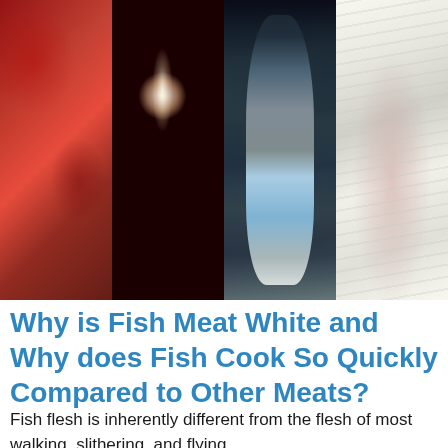[Figure (photo): Collage of four fish meat panels side by side: deep red tuna fillet (left), orange salmon steak cross-section with concentric muscle patterns and a spine visible (second), gray-blue mackerel or similar dark fish fillet (third), white/cream striped fish fillet (right)]
Why is Fish Meat White and Why does Fish Cook So Quickly Compared to Other Meats?
Fish flesh is inherently different from the flesh of most walking, slithering, and flying